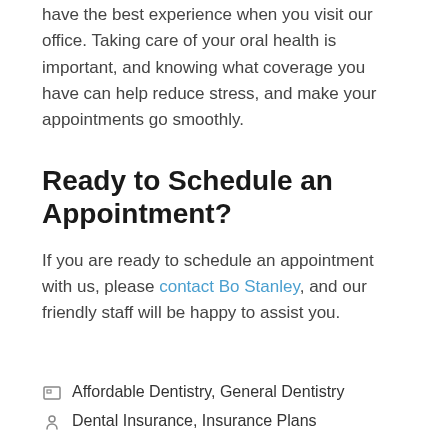have the best experience when you visit our office. Taking care of your oral health is important, and knowing what coverage you have can help reduce stress, and make your appointments go smoothly.
Ready to Schedule an Appointment?
If you are ready to schedule an appointment with us, please contact Bo Stanley, and our friendly staff will be happy to assist you.
Affordable Dentistry, General Dentistry | Dental Insurance, Insurance Plans